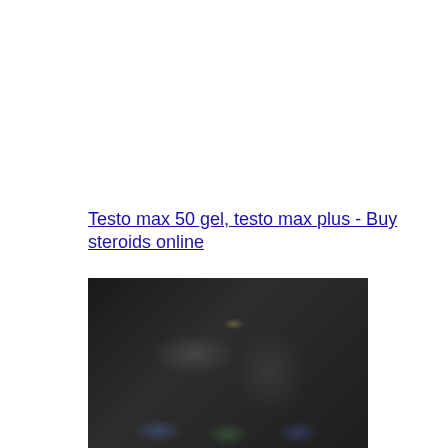Testo max 50 gel, testo max plus - Buy steroids online
[Figure (photo): Dark blurred image showing what appears to be supplement product containers at the bottom against a very dark background with indistinct figures]